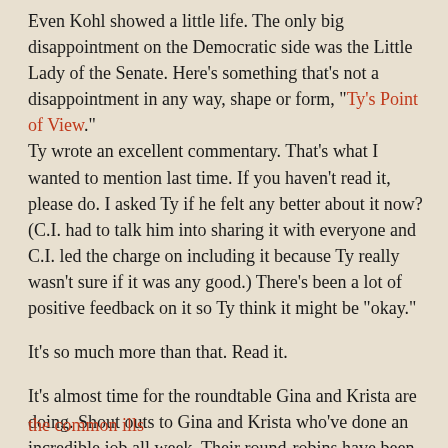Even Kohl showed a little life. The only big disappointment on the Democratic side was the Little Lady of the Senate. Here's something that's not a disappointment in any way, shape or form, "Ty's Point of View."
Ty wrote an excellent commentary. That's what I wanted to mention last time. If you haven't read it, please do. I asked Ty if he felt any better about it now? (C.I. had to talk him into sharing it with everyone and C.I. led the charge on including it because Ty really wasn't sure if it was any good.) There's been a lot of positive feedback on it so Ty think it might be "okay."
It's so much more than that. Read it.
It's almost time for the roundtable Gina and Krista are doing. Shout outs to Gina and Krista who've done an incredible job all week. Their round-robins have been packed with strong writing. And let me shout out to Ruth as well who did another wonderful Ruth's Morning Edition Report Tuesday.
the common ills